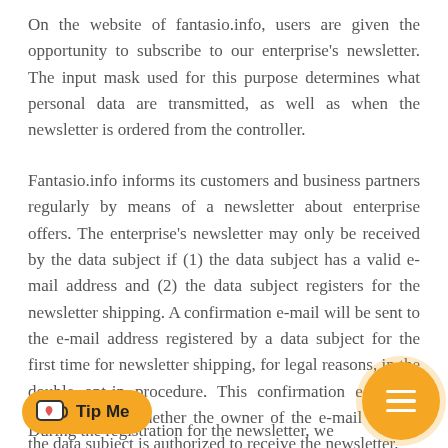On the website of fantasio.info, users are given the opportunity to subscribe to our enterprise's newsletter. The input mask used for this purpose determines what personal data are transmitted, as well as when the newsletter is ordered from the controller.
Fantasio.info informs its customers and business partners regularly by means of a newsletter about enterprise offers. The enterprise's newsletter may only be received by the data subject if (1) the data subject has a valid e-mail address and (2) the data subject registers for the newsletter shipping. A confirmation e-mail will be sent to the e-mail address registered by a data subject for the first time for newsletter shipping, for legal reasons, in the double opt-in procedure. This confirmation e-mail is used to prove whether the owner of the e-mail address the data subject is authorized to receive the newsletter.
During the registration for the newsletter, we